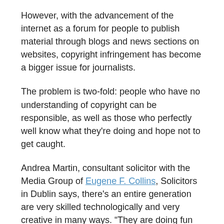However, with the advancement of the internet as a forum for people to publish material through blogs and news sections on websites, copyright infringement has become a bigger issue for journalists.
The problem is two-fold: people who have no understanding of copyright can be responsible, as well as those who perfectly well know what they're doing and hope not to get caught.
Andrea Martin, consultant solicitor with the Media Group of Eugene F. Collins, Solicitors in Dublin says, there's an entire generation are very skilled technologically and very creative in many ways. “They are doing fun things with clips of music, clips of video material, cutting, pasting, splicing, putting it together, reorganising, and recreating. A lot of the time they are not realising there are copyright issues inherent in that.”
Martin adds that what is also problematic is that material is written for one medium or photographs are taken for one medium and then reappear in other web-based formats. “It's very very difficult